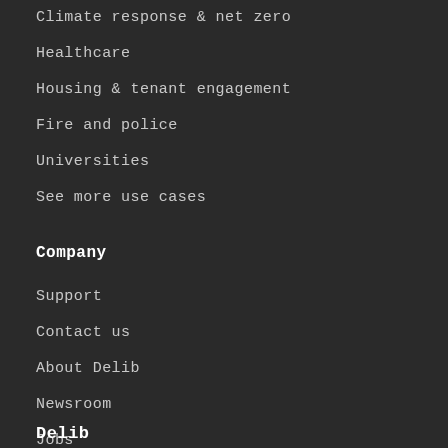Climate response & net zero
Healthcare
Housing & tenant engagement
Fire and police
Universities
See more use cases
Company
Support
Contact us
About Delib
Newsroom
Jobs
Twitter
Delib...